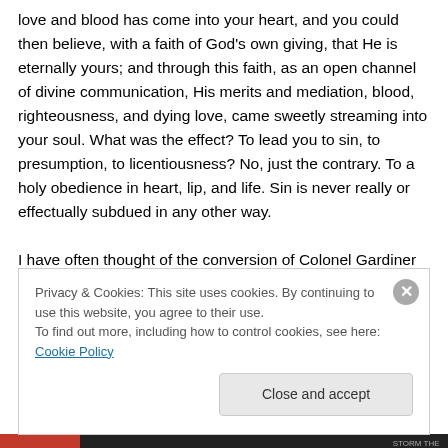love and blood has come into your heart, and you could then believe, with a faith of God's own giving, that He is eternally yours; and through this faith, as an open channel of divine communication, His merits and mediation, blood, righteousness, and dying love, came sweetly streaming into your soul. What was the effect? To lead you to sin, to presumption, to licentiousness? No, just the contrary. To a holy obedience in heart, lip, and life. Sin is never really or effectually subdued in any other way.
I have often thought of the conversion of Colonel Gardiner
Privacy & Cookies: This site uses cookies. By continuing to use this website, you agree to their use.
To find out more, including how to control cookies, see here: Cookie Policy
Close and accept